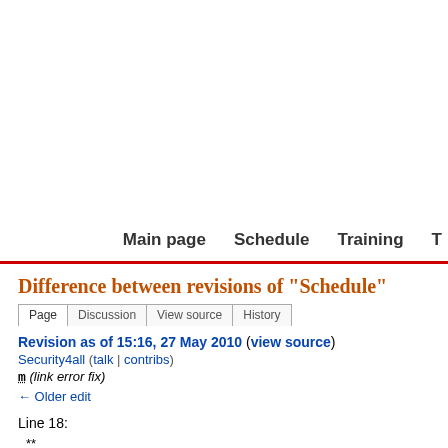Main page  Schedule  Training  T
Difference between revisions of "Schedule"
Page  Discussion  View source  History
Revision as of 15:16, 27 May 2010 (view source)
Security4all (talk | contribs)
m (link error fix)
← Older edit
Line 18:
** [[Presentations#The_WOMBAT_Project:_Recent_Developments_in_Interne
The WOMBAT Project: Recent Developments in Internet Threats Analysis by 
Andy Maser]].